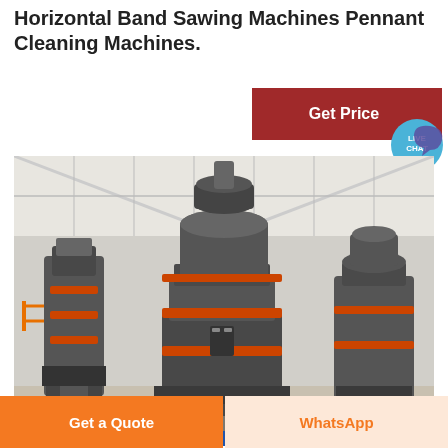Horizontal Band Sawing Machines Pennant Cleaning Machines.
[Figure (photo): Industrial grinding/milling machines in a large factory warehouse. Three large vertical mill machines with orange accent rings, dark grey metal construction, inside a white-roofed industrial facility.]
Get Price
LIVE CHAT
Get a Quote
WhatsApp